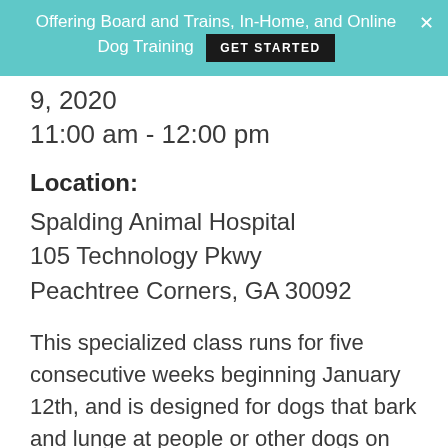Offering Board and Trains, In-Home, and Online Dog Training GET STARTED
9, 2020
11:00 am - 12:00 pm
Location:
Spalding Animal Hospital
105 Technology Pkwy
Peachtree Corners, GA 30092
This specialized class runs for five consecutive weeks beginning January 12th, and is designed for dogs that bark and lunge at people or other dogs on leash.